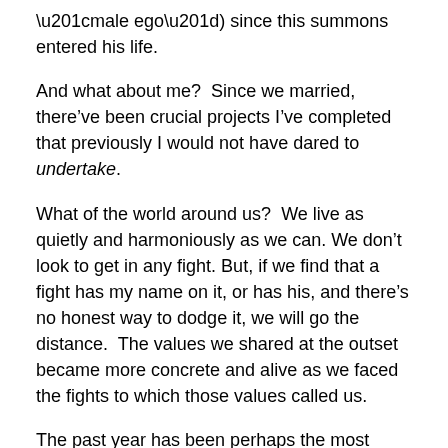“male ego”) since this summons entered his life.
And what about me?  Since we married, there’ve been crucial projects I’ve completed that previously I would not have dared to undertake.
What of the world around us?  We live as quietly and harmoniously as we can. We don’t look to get in any fight. But, if we find that a fight has my name on it, or has his, and there’s no honest way to dodge it, we will go the distance.  The values we shared at the outset became more concrete and alive as we faced the fights to which those values called us.
The past year has been perhaps the most difficult since we married.  Vital things, sacred things, defining projects were at risk, one after another.  It’s been a helluva ride.